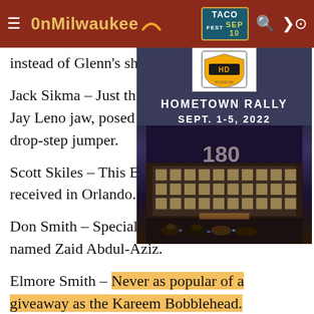OnMilwaukee — TACO FEST SEP 10
instead of Glenn's sheepish look.
[Figure (photo): Harley-Davidson Museum Hometown Rally advertisement overlay showing the HD Museum logo, text 'HOMETOWN RALLY SEPT. 1-5, 2022', and a nighttime photo of motorcycles parked outside the Harley-Davidson Museum building.]
Jack Sikma – Just think, the blonde perm, the Jay Leno jaw, posed in his patented backward drop-step jumper.
Scott Skiles – This Bobblehead would be better received in Orlando.
Don Smith – Special collector's edition has 100 named Zaid Abdul-Aziz.
Elmore Smith – Never as popular of a giveaway as the Kareem Bobblehead.